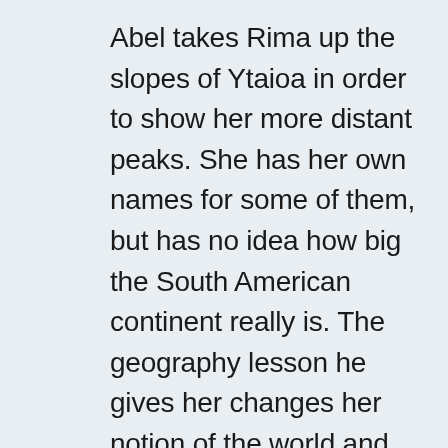Abel takes Rima up the slopes of Ytaioa in order to show her more distant peaks. She has her own names for some of them, but has no idea how big the South American continent really is. The geography lesson he gives her changes her notion of the world and of her situation within it; it is this new sense of place that drives her to leave her petty garden in a desperate attempt to find a greater “Eden,” from which even she is an exile. This further Eden is supposed to be situated in the legendary mountains of Riolama for which Rima was named, but it is irredeemably lost–and while she and Abel absent themselves in the search for it, the fragment of Eden that they had is invaded and despoiled by the Native